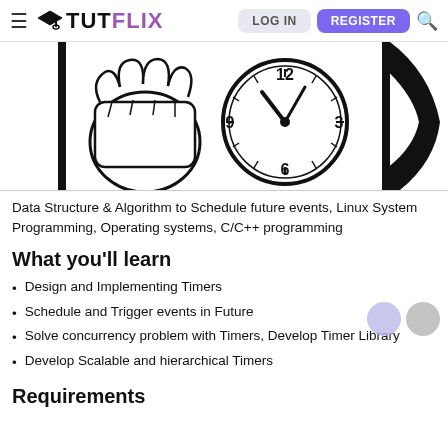TUTFLIX — LOG IN | REGISTER
[Figure (illustration): Black and white illustration of a hand holding a clock showing approximately 10:10, with bold comic-style lines and white background.]
Data Structure & Algorithm to Schedule future events, Linux System Programming, Operating systems, C/C++ programming
What you'll learn
Design and Implementing Timers
Schedule and Trigger events in Future
Solve concurrency problem with Timers, Develop Timer Library
Develop Scalable and hierarchical Timers
Requirements